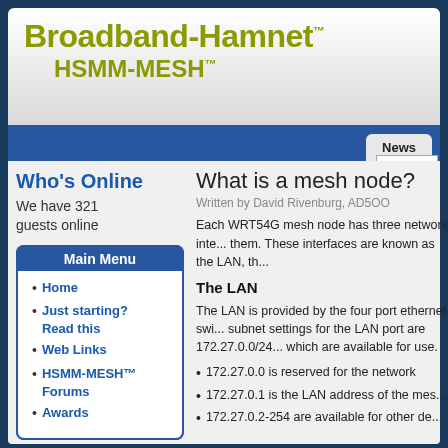Broadband-Hamnet™ HSMM-MESH™
What is a mesh node?
Written by David Rivenburg, AD5OO
Each WRT54G mesh node has three network interfaces inside them. These interfaces are known as the LAN, th...
The LAN
The LAN is provided by the four port ethernet switch. The subnet settings for the LAN port are 172.27.0.0/24... which are available for use.
172.27.0.0 is reserved for the network
172.27.0.1 is the LAN address of the mes...
172.27.0.2-254 are available for other de...
Who's Online
We have 321 guests online
Main Menu
Home
Just starting? Read this
Web Links
HSMM-MESH™ Forums
Awards